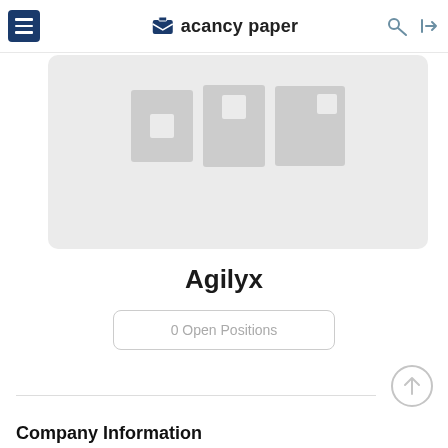Vacancy paper
[Figure (screenshot): Company profile image placeholder with grey blocks representing images]
Agilyx
0 Open Positions
Company Information